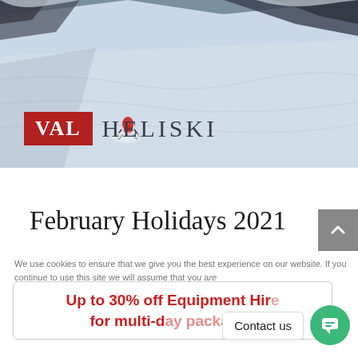[Figure (photo): Aerial snowy mountain slope with a skier in a red jacket skiing through deep powder snow; dark rocky peaks visible at top]
[Figure (logo): Val Heliski logo: red rectangle with white text VAL next to dark grey serif text HELISKI]
February Holidays 2021
We use cookies to ensure that we give you the best experience on our website. If you continue to use this site we will assume that you are
Up to 30% off Equipment Hire for multi-d[ay packages]
Contact us